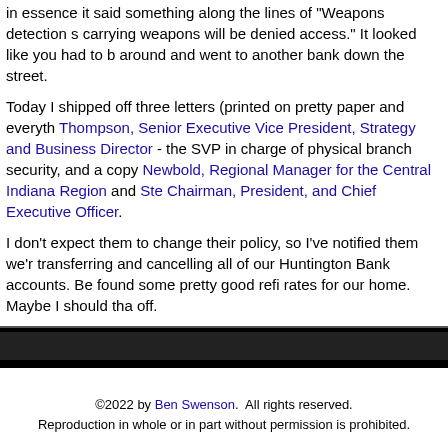in essence it said something along the lines of "Weapons detection s carrying weapons will be denied access." It looked like you had to b around and went to another bank down the street.
Today I shipped off three letters (printed on pretty paper and everyth Thompson, Senior Executive Vice President, Strategy and Business Director - the SVP in charge of physical branch security, and a copy Newbold, Regional Manager for the Central Indiana Region and Ste Chairman, President, and Chief Executive Officer.
I don't expect them to change their policy, so I've notified them we're transferring and cancelling all of our Huntington Bank accounts. Be found some pretty good refi rates for our home. Maybe I should tha off.
Anyone who carries should be warned that at least some Huntingto carry of handguns.
©2022 by Ben Swenson. All rights reserved. Reproduction in whole or in part without permission is prohibited.